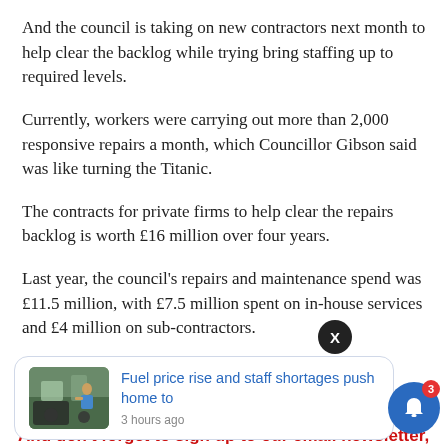And the council is taking on new contractors next month to help clear the backlog while trying bring staffing up to required levels.
Currently, workers were carrying out more than 2,000 responsive repairs a month, which Councillor Gibson said was like turning the Titanic.
The contracts for private firms to help clear the repairs backlog is worth £16 million over four years.
Last year, the council's repairs and maintenance spend was £11.5 million, with £7.5 million spent on in-house services and £4 million on sub-contractors.
[Figure (other): Notification card with image of person with van, headline 'Fuel price rise and staff shortages push home to', timestamped '3 hours ago']
And don't forget to sign up to our email newsletter,